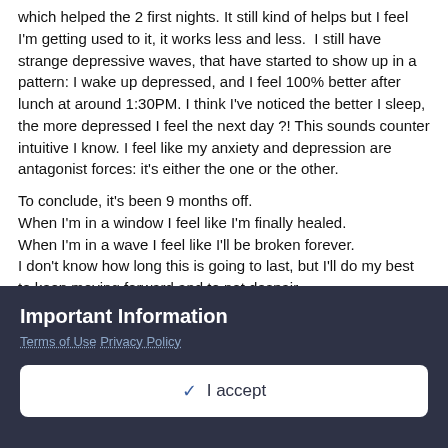which helped the 2 first nights. It still kind of helps but I feel I'm getting used to it, it works less and less.  I still have strange depressive waves, that have started to show up in a pattern: I wake up depressed, and I feel 100% better after lunch at around 1:30PM. I think I've noticed the better I sleep, the more depressed I feel the next day ?! This sounds counter intuitive I know. I feel like my anxiety and depression are antagonist forces: it's either the one or the other.

To conclude, it's been 9 months off.
When I'm in a window I feel like I'm finally healed.
When I'm in a wave I feel like I'll be broken forever.
I don't know how long this is going to last, but I'll do my best to keep moving forward and to not despair.
I'll do my best to not let withdrawal keep me from doing the things I want to do.
Important Information
Terms of Use Privacy Policy
✓ I accept